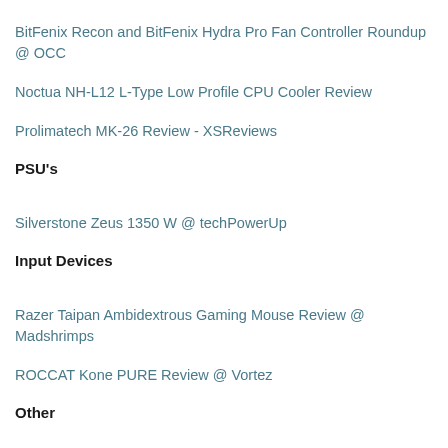BitFenix Recon and BitFenix Hydra Pro Fan Controller Roundup @ OCC
Noctua NH-L12 L-Type Low Profile CPU Cooler Review
Prolimatech MK-26 Review - XSReviews
PSU's
Silverstone Zeus 1350 W @ techPowerUp
Input Devices
Razer Taipan Ambidextrous Gaming Mouse Review @ Madshrimps
ROCCAT Kone PURE Review @ Vortez
Other
ASUS PB278Q review: ASUS goes WQHD